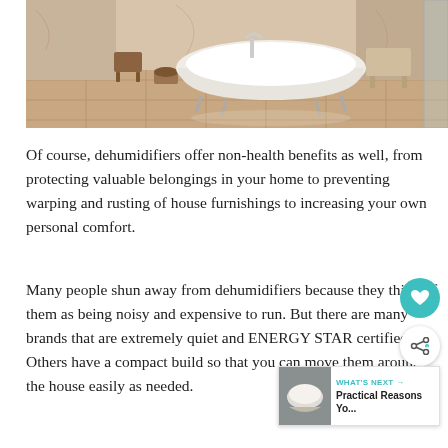[Figure (photo): A luxury bathroom with a freestanding white clawfoot bathtub on a pale marble tile floor, with marble walls, a wooden stool, a small wooden bucket, and a glass partition visible.]
Of course, dehumidifiers offer non-health benefits as well, from protecting valuable belongings in your home to preventing warping and rusting of house furnishings to increasing your own personal comfort.
Many people shun away from dehumidifiers because they think of them as being noisy and expensive to run. But there are many brands that are extremely quiet and ENERGY STAR certified. Others have a compact build so that you can move them around the house easily as needed.